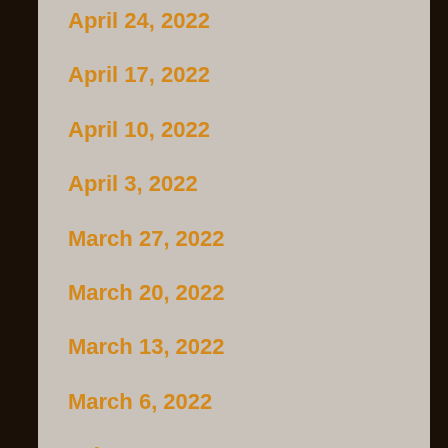April 24, 2022
April 17, 2022
April 10, 2022
April 3, 2022
March 27, 2022
March 20, 2022
March 13, 2022
March 6, 2022
February 27, 2022
February 20, 2022
February 13, 2022
February 6, 2022